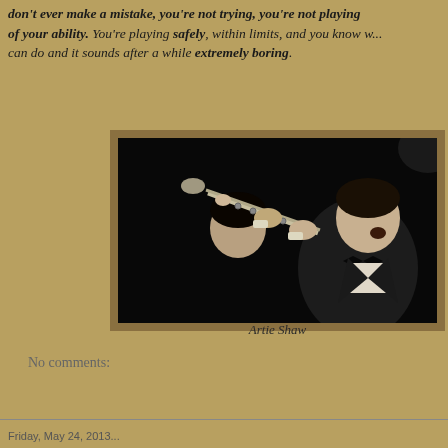don't ever make a mistake, you're not trying, you're not playing of your ability. You're playing safely, within limits, and you know w... can do and it sounds after a while extremely boring.
[Figure (photo): Black and white photograph of Artie Shaw playing clarinet, wearing a tuxedo with bow tie, looking upward while playing]
Artie Shaw
No comments: